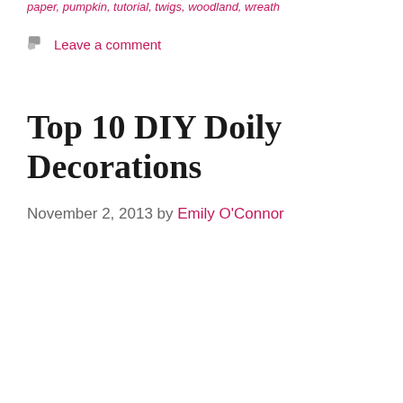paper, pumpkin, tutorial, twigs, woodland, wreath
Leave a comment
Top 10 DIY Doily Decorations
November 2, 2013 by Emily O'Connor